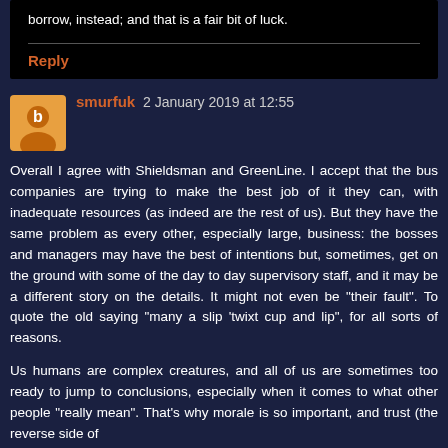borrow, instead; and that is a fair bit of luck.
Reply
smurfuk 2 January 2019 at 12:55
Overall I agree with Shieldsman and GreenLine. I accept that the bus companies are trying to make the best job of it they can, with inadequate resources (as indeed are the rest of us). But they have the same problem as every other, especially large, business: the bosses and managers may have the best of intentions but, sometimes, get on the ground with some of the day to day supervisory staff, and it may be a different story on the details. It might not even be "their fault". To quote the old saying "many a slip 'twixt cup and lip", for all sorts of reasons.
Us humans are complex creatures, and all of us are sometimes too ready to jump to conclusions, especially when it comes to what other people "really mean". That's why morale is so important, and trust (the reverse side of